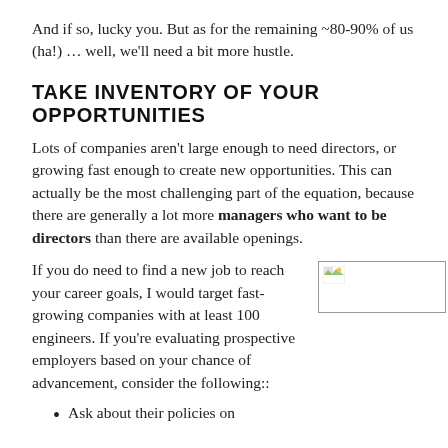And if so, lucky you. But as for the remaining ~80-90% of us (ha!) … well, we'll need a bit more hustle.
TAKE INVENTORY OF YOUR OPPORTUNITIES
Lots of companies aren't large enough to need directors, or growing fast enough to create new opportunities. This can actually be the most challenging part of the equation, because there are generally a lot more managers who want to be directors than there are available openings.
If you do need to find a new job to reach your career goals, I would target fast-growing companies with at least 100 engineers. If you're evaluating prospective employers based on your chance of advancement, consider the following::
[Figure (photo): Small image placeholder with broken image icon]
Ask about their policies on